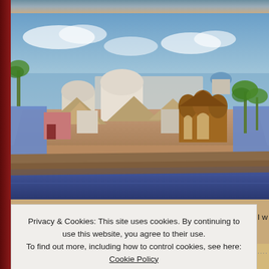[Figure (screenshot): Screenshot of a virtual world or game environment showing an island with Middle Eastern/Arabian style architecture including domed buildings, thatched roof structures, and ornate pavilions surrounded by water, with blue sky and palm trees in the background.]
Privacy & Cookies: This site uses cookies. By continuing to use this website, you agree to their use.
To find out more, including how to control cookies, see here: Cookie Policy
Close and accept
FOR ALL WHO LOVE MESH